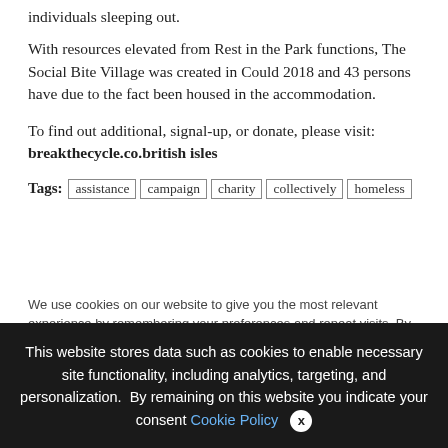individuals sleeping out.
With resources elevated from Rest in the Park functions, The Social Bite Village was created in Could 2018 and 43 persons have due to the fact been housed in the accommodation.
To find out additional, signal-up, or donate, please visit: breakthecycle.co.british isles
Tags: assistance  campaign  charity  collectively  homeless
We use cookies on our website to give you the most relevant experience by remembering your preferences and repeat visits. By clicking “Accept All”, you consent to the use of ALL the controlled consent.
This website stores data such as cookies to enable necessary site functionality, including analytics, targeting, and personalization. By remaining on this website you indicate your consent Cookie Policy ×